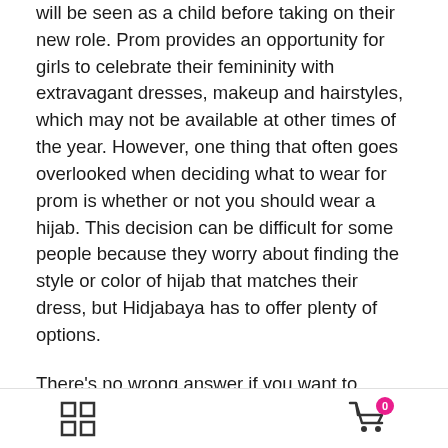will be seen as a child before taking on their new role. Prom provides an opportunity for girls to celebrate their femininity with extravagant dresses, makeup and hairstyles, which may not be available at other times of the year. However, one thing that often goes overlooked when deciding what to wear for prom is whether or not you should wear a hijab. This decision can be difficult for some people because they worry about finding the style or color of hijab that matches their dress, but Hidjabaya has to offer plenty of options.
There's no wrong answer if you want to decide whether or not you want to wear a hijab for prom. If you feel comfortable wearing your headscarf, then that's great, and if not, don't worry! We have plenty of other hijabs to match with whatever dress or hairstyle you choose on the big day.
grid icon | cart icon with badge 0